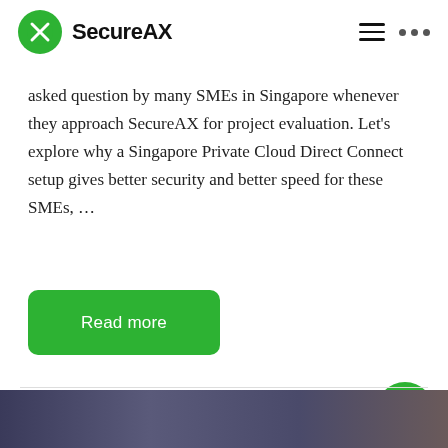SecureAX
asked question by many SMEs in Singapore whenever they approach SecureAX for project evaluation. Let's explore why a Singapore Private Cloud Direct Connect setup gives better security and better speed for these SMEs, …
Read more
Share this post
[Figure (photo): Blurred image at the bottom of the page]